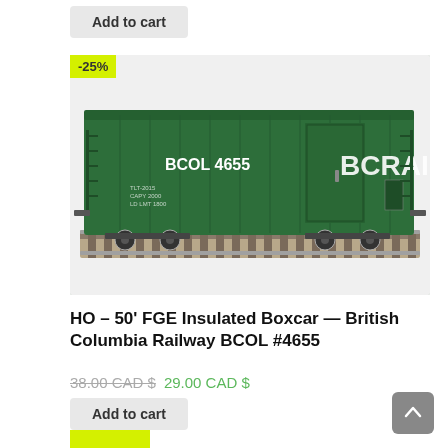Add to cart
[Figure (photo): Model train HO scale 50-foot FGE insulated boxcar in dark green British Columbia Railway BCOL #4655 livery, sitting on model track. A yellow -25% discount badge is in the top-left corner.]
HO – 50' FGE Insulated Boxcar — British Columbia Railway BCOL #4655
38.00 CAD $ 29.00 CAD $
Add to cart